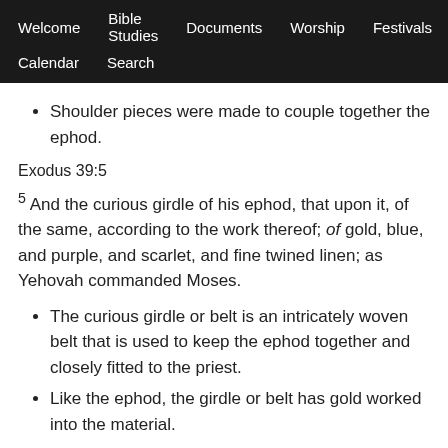Welcome  Bible Studies  Documents  Worship  Festivals  Calendar  Search
Shoulder pieces were made to couple together the ephod.
Exodus 39:5
5 And the curious girdle of his ephod, that upon it, of the same, according to the work thereof; of gold, blue, and purple, and scarlet, and fine twined linen; as Yehovah commanded Moses.
The curious girdle or belt is an intricately woven belt that is used to keep the ephod together and closely fitted to the priest.
Like the ephod, the girdle or belt has gold worked into the material.